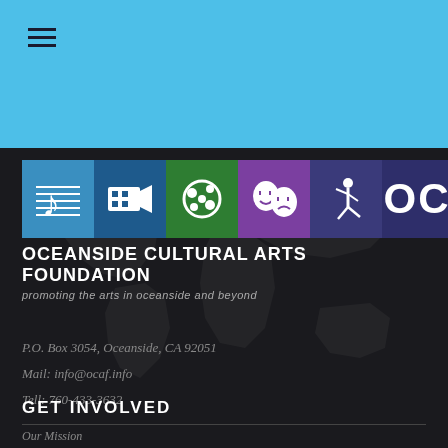[Figure (logo): OCAF - Oceanside Cultural Arts Foundation logo with colored icon boxes (music, film, painting, theater, dance) and OCAF text]
OCEANSIDE CULTURAL ARTS FOUNDATION
promoting the arts in oceanside and beyond
P.O. Box 3054, Oceanside, CA 92051
Mail: info@ocaf.info
Tell: 760-433-3632
GET INVOLVED
Our Mission